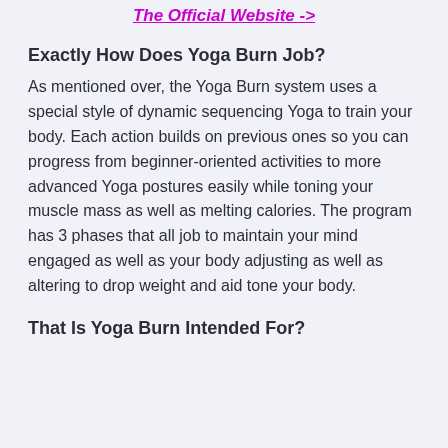The Official Website ->
Exactly How Does Yoga Burn Job?
As mentioned over, the Yoga Burn system uses a special style of dynamic sequencing Yoga to train your body. Each action builds on previous ones so you can progress from beginner-oriented activities to more advanced Yoga postures easily while toning your muscle mass as well as melting calories. The program has 3 phases that all job to maintain your mind engaged as well as your body adjusting as well as altering to drop weight and aid tone your body.
That Is Yoga Burn Intended For?